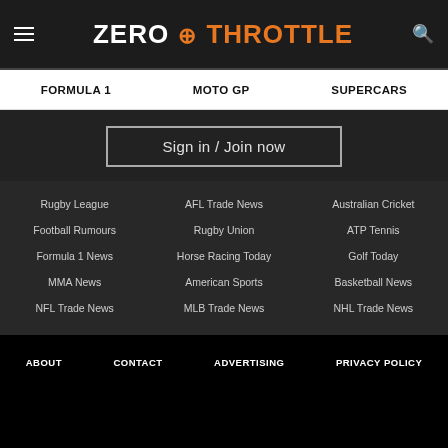ZERO THROTTLE
FORMULA 1
MOTO GP
SUPERCARS
Sign in / Join now
Rugby League
AFL Trade News
Australian Cricket
Football Rumours
Rugby Union
ATP Tennis
Formula 1 News
Horse Racing Today
Golf Today
MMA News
American Sports
Basketball News
NFL Trade News
MLB Trade News
NHL Trade News
ABOUT  CONTACT  ADVERTISING  PRIVACY POLICY